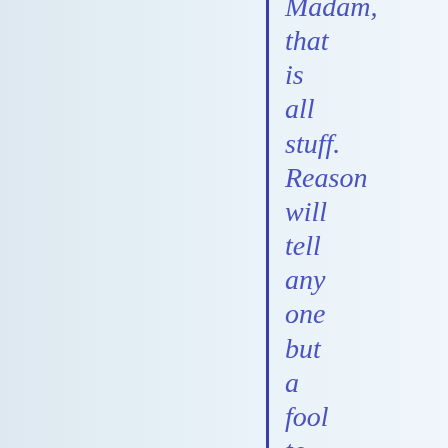Madam, that is all stuff. Reason will tell any one but a fool to attend to